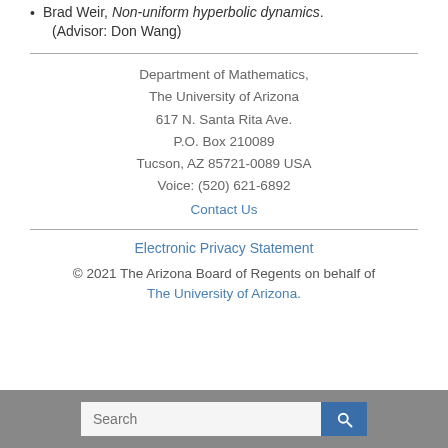Brad Weir, Non-uniform hyperbolic dynamics. (Advisor: Don Wang)
Department of Mathematics,
The University of Arizona
617 N. Santa Rita Ave.
P.O. Box 210089
Tucson, AZ 85721-0089 USA
Voice: (520) 621-6892
Contact Us
Electronic Privacy Statement
© 2021 The Arizona Board of Regents on behalf of The University of Arizona.
Search